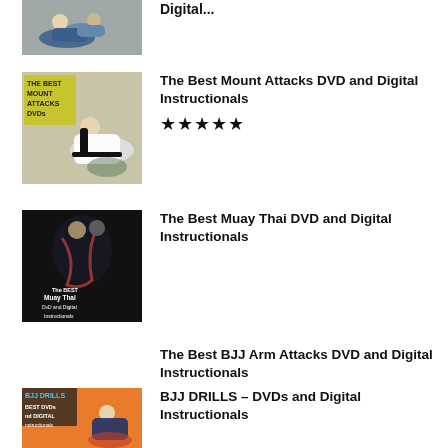Digital...
The Best Mount Attacks DVD and Digital Instructionals
The Best Muay Thai DVD and Digital Instructionals
The Best BJJ Arm Attacks DVD and Digital Instructionals
BJJ DRILLS – DVDs and Digital Instructionals